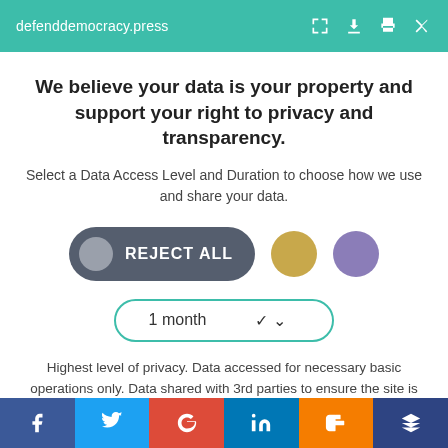defenddemocracy.press
We believe your data is your property and support your right to privacy and transparency.
Select a Data Access Level and Duration to choose how we use and share your data.
[Figure (infographic): Privacy consent UI with REJECT ALL button (dark gray pill with gray circle), a gold circle button, and a purple circle button]
[Figure (infographic): Dropdown selector showing '1 month' with teal border and chevron]
Highest level of privacy. Data accessed for necessary basic operations only. Data shared with 3rd parties to ensure the site is secure and works on your device
Save my preferences
Social share buttons: Facebook, Twitter, Google+, LinkedIn, Blogger, Crown